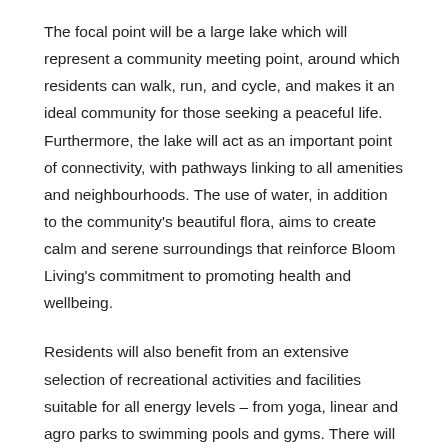The focal point will be a large lake which will represent a community meeting point, around which residents can walk, run, and cycle, and makes it an ideal community for those seeking a peaceful life. Furthermore, the lake will act as an important point of connectivity, with pathways linking to all amenities and neighbourhoods. The use of water, in addition to the community's beautiful flora, aims to create calm and serene surroundings that reinforce Bloom Living's commitment to promoting health and wellbeing.
Residents will also benefit from an extensive selection of recreational activities and facilities suitable for all energy levels – from yoga, linear and agro parks to swimming pools and gyms. There will also be several regular events and festivities which will aim to bring the entire community together.  Pets are very welcome, with dedicated dog parks to ensure that every member of the family is catered for. Bloom Living is committed to delivering long-term social impact for the emirate by developing a community